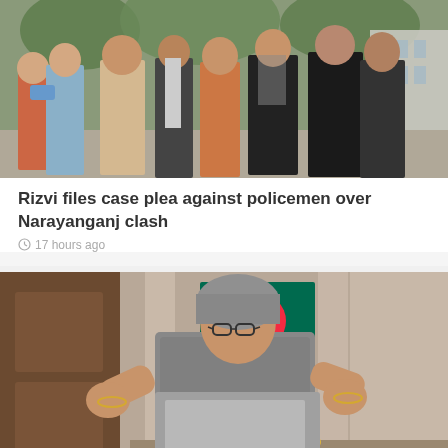[Figure (photo): Group of men walking outside on a street, some in formal attire including black court gowns, one in orange traditional dress, one wearing a blue surgical mask]
Rizvi files case plea against policemen over Narayanganj clash
17 hours ago
[Figure (photo): A woman in a grey patterned sari and headscarf wearing glasses, gesturing with both hands while speaking, with a Bangladesh flag visible in the background]
'India a tested friend': PM Hasina in ANI interview